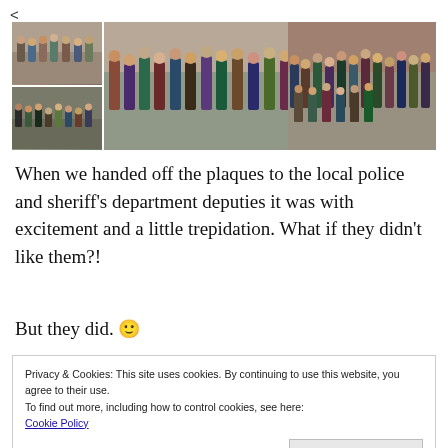[Figure (photo): Grid of group photos showing students holding plaques in front of brick walls]
When we handed off the plaques to the local police and sheriff's department deputies it was with excitement and a little trepidation. What if they didn't like them?!
But they did. 🙂
Privacy & Cookies: This site uses cookies. By continuing to use this website, you agree to their use.
To find out more, including how to control cookies, see here:
Cookie Policy
Close and accept